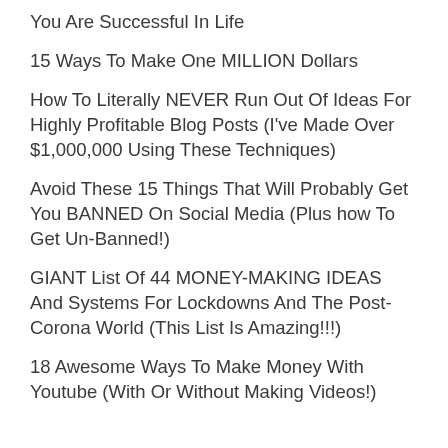You Are Successful In Life
15 Ways To Make One MILLION Dollars
How To Literally NEVER Run Out Of Ideas For Highly Profitable Blog Posts (I've Made Over $1,000,000 Using These Techniques)
Avoid These 15 Things That Will Probably Get You BANNED On Social Media (Plus how To Get Un-Banned!)
GIANT List Of 44 MONEY-MAKING IDEAS And Systems For Lockdowns And The Post-Corona World (This List Is Amazing!!!)
18 Awesome Ways To Make Money With Youtube (With Or Without Making Videos!)